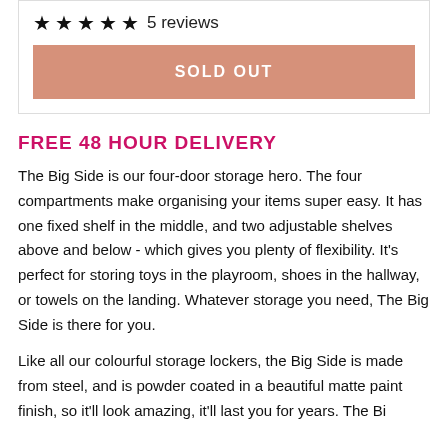[Figure (other): Five filled star icons rating display]
5 reviews
SOLD OUT
FREE 48 HOUR DELIVERY
The Big Side is our four-door storage hero. The four compartments make organising your items super easy. It has one fixed shelf in the middle, and two adjustable shelves above and below - which gives you plenty of flexibility. It's perfect for storing toys in the playroom, shoes in the hallway, or towels on the landing. Whatever storage you need, The Big Side is there for you.
Like all our colourful storage lockers, the Big Side is made from steel, and is powder coated in a beautiful matte paint finish, so it'll look amazing, it'll last you for years. The Bi...